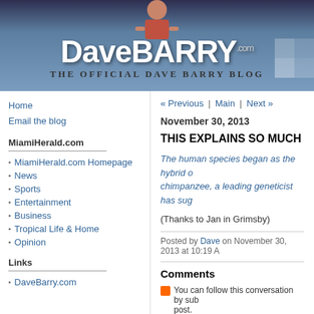[Figure (screenshot): Dave Barry blog header with man leaning over sign showing DaveBARRY.com logo and subtitle 'The Official Dave Barry Blog']
Home
Email the blog
MiamiHerald.com
MiamiHerald.com Homepage
News
Sports
Entertainment
Business
Tropical Life & Home
Opinion
Links
DaveBarry.com
« Previous | Main | Next »
November 30, 2013
THIS EXPLAINS SO MUCH
The human species began as the hybrid of a chimpanzee, a leading geneticist has suggested.
(Thanks to Jan in Grimsby)
Posted by Dave on November 30, 2013 at 10:19 A
Comments
You can follow this conversation by subscribing to the comment feed for this post.